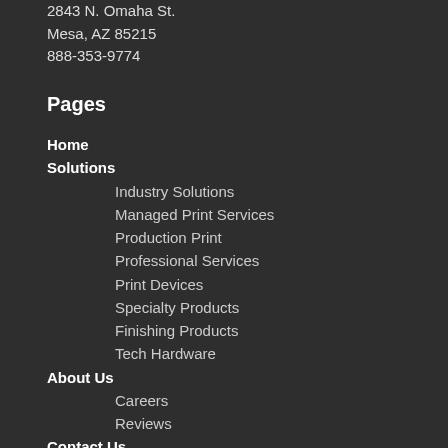2843 N. Omaha St.
Mesa, AZ 85215
888-353-9774
Pages
Home
Solutions
Industry Solutions
Managed Print Services
Production Print
Professional Services
Print Devices
Specialty Products
Finishing Products
Tech Hardware
About Us
Careers
Reviews
Contact Us